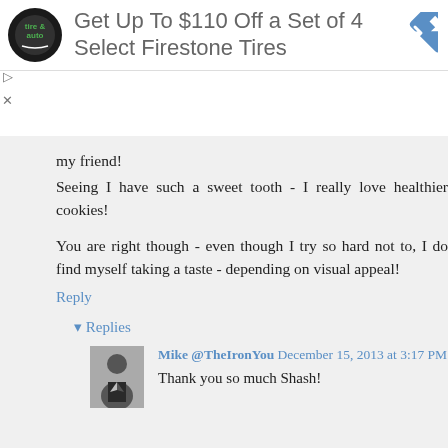[Figure (infographic): Advertisement banner: Firestone Tire & Auto circular logo on the left, text 'Get Up To $110 Off a Set of 4 Select Firestone Tires', blue diamond arrow icon on the right]
my friend! Seeing I have such a sweet tooth - I really love healthier cookies!
You are right though - even though I try so hard not to, I do find myself taking a taste - depending on visual appeal!
Reply
Replies
Mike @TheIronYou December 15, 2013 at 3:17 PM
Thank you so much Shash!